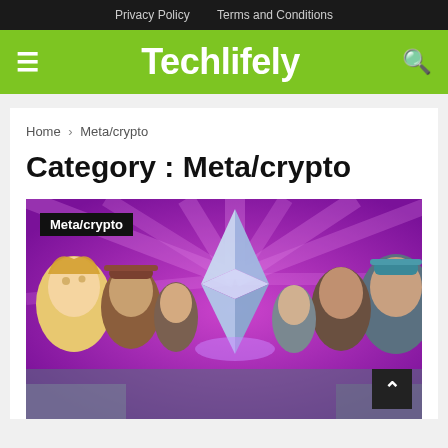Privacy Policy   Terms and Conditions
Techlifely
Home > Meta/crypto
Category : Meta/crypto
[Figure (illustration): Illustrated scene with multiple cartoon-style characters looking toward a glowing Ethereum diamond logo in the center, on a purple/magenta radial background. Characters include people with various hair colors and styles on both sides. A 'Meta/crypto' label is overlaid in the top-left corner. 'Cointelegraph' watermark visible on the right.]